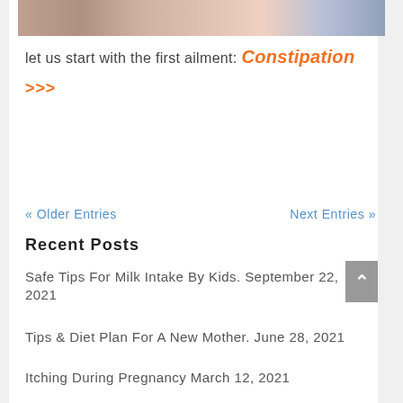[Figure (photo): Partial photo strip at top of page showing blurred/pixelated image of a person]
let us start with the first ailment: Constipation
>>>
« Older Entries
Next Entries »
Recent Posts
Safe Tips For Milk Intake By Kids. September 22, 2021
Tips & Diet Plan For A New Mother. June 28, 2021
Itching During Pregnancy March 12, 2021